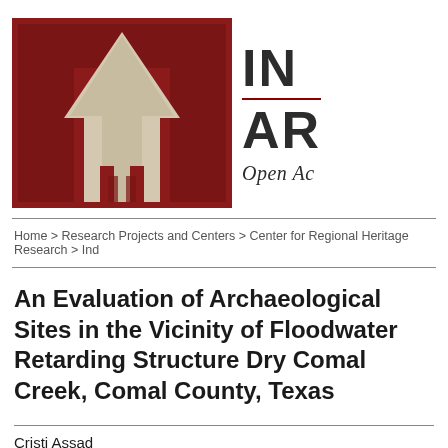[Figure (logo): ITA logo with red block letters I, T, A and a beige arrowhead shape in the center, alongside partial organization name text 'IN', 'AR', and 'Open Ac' (cropped)]
Home > Research Projects and Centers > Center for Regional Heritage Research > Ind
An Evaluation of Archaeological Sites in the Vicinity of Floodwater Retarding Structure Dry Comal Creek, Comal County, Texas
Cristi Assad